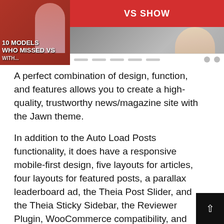[Figure (screenshot): Screenshot of a magazine/news website theme called Jawn, showing two panels: left panel with red background and text '10 MODELS WHO MISSED VS' and a person, right panel showing 'VS SHOW' heading with a person in outdoor setting and a website navigation bar at the bottom.]
A perfect combination of design, function, and features allows you to create a high-quality, trustworthy news/magazine site with the Jawn theme.
In addition to the Auto Load Posts functionality, it does have a responsive mobile-first design, five layouts for articles, four layouts for featured posts, a parallax leaderboard ad, the Theia Post Slider, and the Theia Sticky Sidebar, the Reviewer Plugin, WooCommerce compatibility, and many other features.
💵 The price is $29.
Key Features: